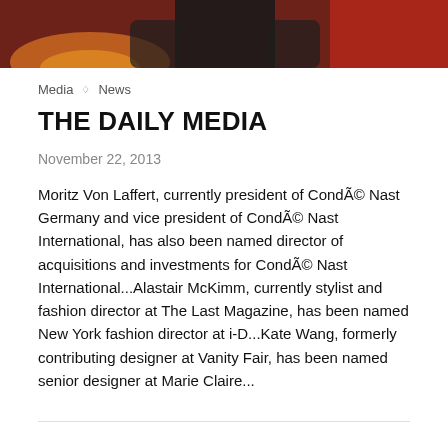[Figure (photo): Cropped photo of a person in dark clothing against a red background, bottom portion visible showing torso area with orange/warm lighting at lower left]
Media ◇ News
THE DAILY MEDIA
November 22, 2013
Moritz Von Laffert, currently president of CondÃ© Nast Germany and vice president of CondÃ© Nast International, has also been named director of acquisitions and investments for CondÃ© Nast International...Alastair McKimm, currently stylist and fashion director at The Last Magazine, has been named New York fashion director at i-D...Kate Wang, formerly contributing designer at Vanity Fair, has been named senior designer at Marie Claire...